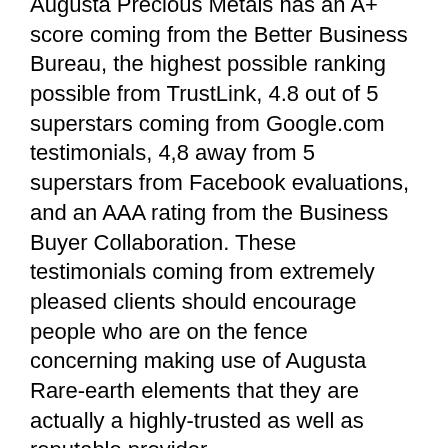Augusta Precious Metals has an A+ score coming from the Better Business Bureau, the highest possible ranking possible from TrustLink, 4.8 out of 5 superstars coming from Google.com testimonials, 4,8 away from 5 superstars from Facebook evaluations, and an AAA rating from the Business Buyer Collaboration. These testimonials coming from extremely pleased clients should encourage people who are on the fence concerning making use of Augusta Rare-earth elements that they are actually a highly-trusted as well as reputable provider.
Silver And Gold Individual Retirement Accounts.
Some of the key companies Augusta Metals uses is aiding individuals put together a new